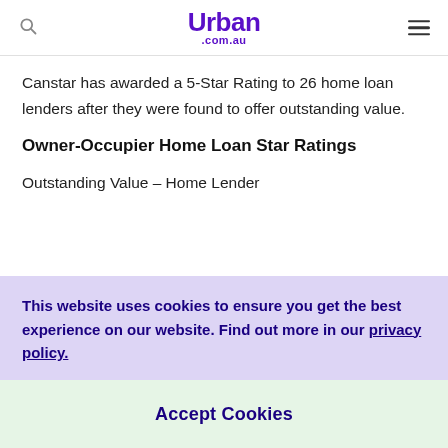Urban .com.au
Canstar has awarded a 5-Star Rating to 26 home loan lenders after they were found to offer outstanding value.
Owner-Occupier Home Loan Star Ratings
Outstanding Value – Home Lender
This website uses cookies to ensure you get the best experience on our website. Find out more in our privacy policy.
Accept Cookies